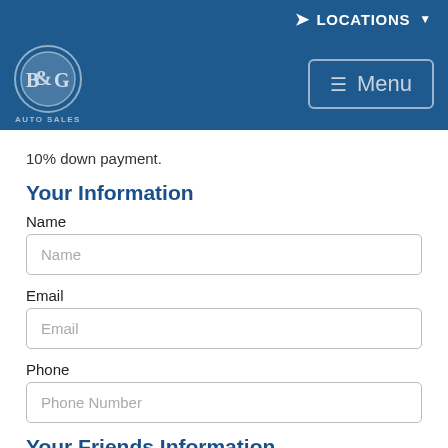LOCATIONS
[Figure (logo): B&G Auto Sales circular logo with Menu button]
10% down payment.
Your Information
Name
Name (input placeholder)
Email
Email (input placeholder)
Phone
Phone Number (input placeholder)
Your Friends Information